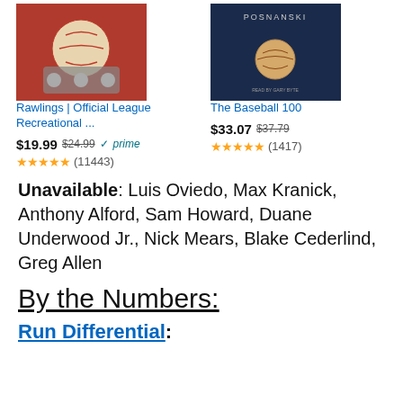[Figure (screenshot): Two Amazon product listings: Rawlings Official League Recreational baseball and The Baseball 100 book, each with images, prices, and star ratings]
Unavailable: Luis Oviedo, Max Kranick, Anthony Alford, Sam Howard, Duane Underwood Jr., Nick Mears, Blake Cederlind, Greg Allen
By the Numbers:
Run Differential: